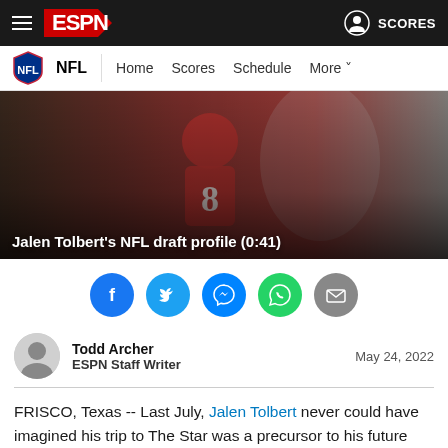ESPN NFL — Home Scores Schedule More
[Figure (photo): Football player wearing red jersey number 8 running with the ball, hero image for article about Jalen Tolbert's NFL draft profile]
Jalen Tolbert's NFL draft profile (0:41)
[Figure (infographic): Social sharing icons: Facebook, Twitter, Messenger, WhatsApp, Email]
Todd Archer
ESPN Staff Writer
May 24, 2022
FRISCO, Texas -- Last July, Jalen Tolbert never could have imagined his trip to The Star was a precursor to his future with the Dallas Cowboys.